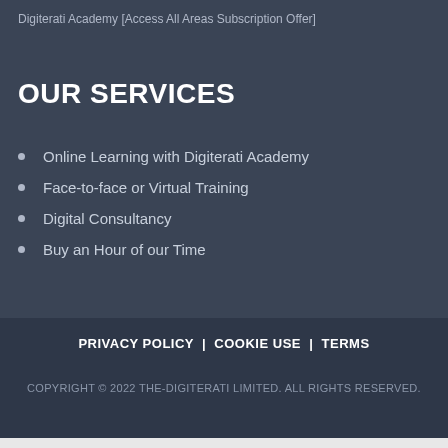Digiterati Academy [Access All Areas Subscription Offer]
OUR SERVICES
Online Learning with Digiterati Academy
Face-to-face or Virtual Training
Digital Consultancy
Buy an Hour of our Time
PRIVACY POLICY  |  COOKIE USE  |  TERMS
COPYRIGHT © 2022 THE-DIGITERATI LIMITED. ALL RIGHTS RESERVED.